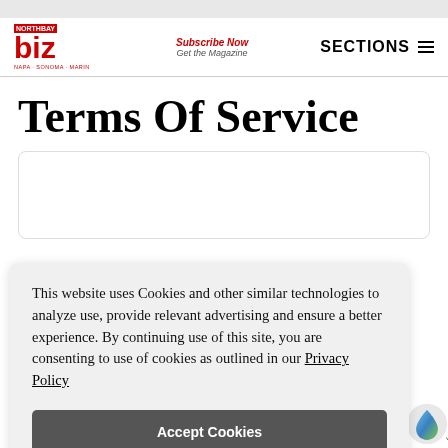NORTHBAY biz | Subscribe Now Get the Magazine | SECTIONS
Terms Of Service
This website uses Cookies and other similar technologies to analyze use, provide relevant advertising and ensure a better experience. By continuing use of this site, you are consenting to use of cookies as outlined in our Privacy Policy
Accept Cookies
The following are Terms of Service for Amataro